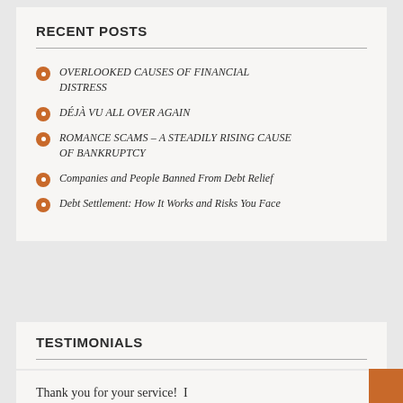RECENT POSTS
OVERLOOKED CAUSES OF FINANCIAL DISTRESS
DÉJÀ VU ALL OVER AGAIN
ROMANCE SCAMS – A STEADILY RISING CAUSE OF BANKRUPTCY
Companies and People Banned From Debt Relief
Debt Settlement: How It Works and Risks You Face
TESTIMONIALS
Thank you for your service!  I though I was treated like family.